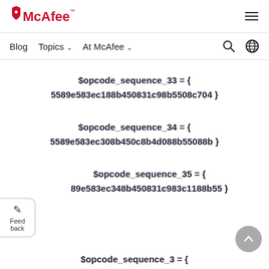McAfee logo and navigation
Blog  Topics ∨  At McAfee ∨
$opcode_sequence_33 = { 5589e583ec188b450831c98b5508c704 }
$opcode_sequence_34 = { 5589e583ec308b450c8b4d088b55088b }
$opcode_sequence_35 = { 89e583ec348b450831c983c1188b55 }